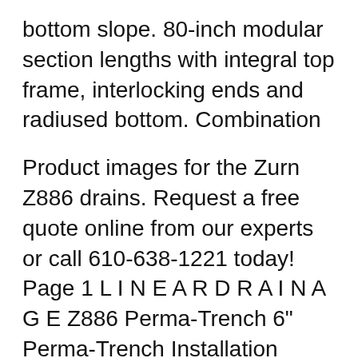bottom slope. 80-inch modular section lengths with integral top frame, interlocking ends and radiused bottom. Combination
Product images for the Zurn Z886 drains. Request a free quote online from our experts or call 610-638-1221 today! Page 1 L I N E A R D R A I N A G E Z886 Perma-Trench 6" Perma-Trench Installation Instructions...; Page 2 Below are the components of the Z886 trench drain typical to an installation. Check your order to verify you have all components particular to your job before beginning your installation. Contact customer service at 855-ONE-ZURN should additional material be